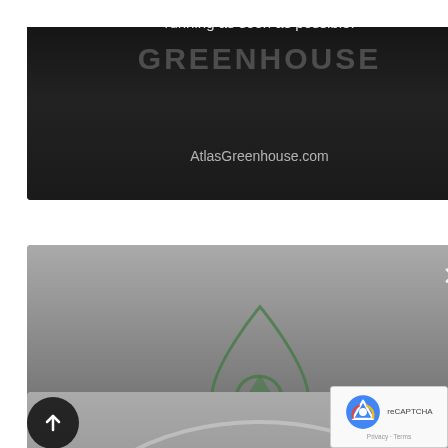[Figure (screenshot): Top video player showing 'Player error' message over dark Atlas Greenhouse background. Text reads: 'The player is having trouble. We'll have it back up and running as soon as possible.' AtlasGreenhouse.com URL visible.]
[Figure (screenshot): Middle video player showing 'Player error' message with Arglass drop/leaf logo. Text: 'Player error'. Body: 'The player is having trouble. We'll have it back up and running as soon as possible.' Close X button top right. ARGLASS watermark text at bottom.]
[Figure (screenshot): Bottom video player partially visible with SCMC logo text and a green plus icon. 'Player error' text visible at bottom. Back/up arrow button on left. reCAPTCHA widget visible at bottom right.]